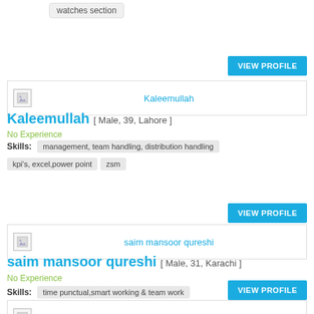watches section
VIEW PROFILE
[Figure (other): Profile image placeholder for Kaleemullah]
Kaleemullah
Kaleemullah [ Male, 39, Lahore ]
No Experience
Skills: management, team handling, distribution handling
kpi's, excel,power point   zsm
VIEW PROFILE
[Figure (other): Profile image placeholder for saim mansoor qureshi]
saim mansoor qureshi
saim mansoor qureshi [ Male, 31, Karachi ]
No Experience
Skills: time punctual,smart working & team work
VIEW PROFILE
[Figure (other): Profile image placeholder for Hamid Ali Khan]
Hamid Ali Khan
Hamid Ali Khan [ Male, 32, Karachi ]